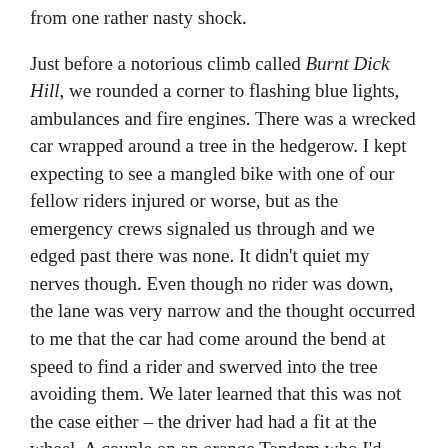from one rather nasty shock.
Just before a notorious climb called Burnt Dick Hill, we rounded a corner to flashing blue lights, ambulances and fire engines. There was a wrecked car wrapped around a tree in the hedgerow. I kept expecting to see a mangled bike with one of our fellow riders injured or worse, but as the emergency crews signaled us through and we edged past there was none. It didn't quiet my nerves though. Even though no rider was down, the lane was very narrow and the thought occurred to me that the car had come around the bend at speed to find a rider and swerved into the tree avoiding them. We later learned that this was not the case either – the driver had had a fit at the wheel. A couple on an orange Tandem who I'd shared a table with at the Barton Mills garage came upon the scene soon after it happened, called the rescue services and waited until they arrived.